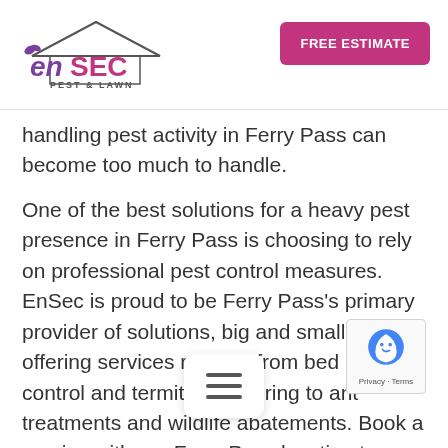EnSec Pest & Lawn | FREE ESTIMATE
handling pest activity in Ferry Pass can become too much to handle.
One of the best solutions for a heavy pest presence in Ferry Pass is choosing to rely on professional pest control measures. EnSec is proud to be Ferry Pass's primary provider of solutions, big and small, offering services ranging from bed bug control and termite monitoring to ant treatments and wildlife abatements. Book a service with our Ferry Pass location to learn more about the solutions that matter.
Home Pest Control In Ferry Pass, FL